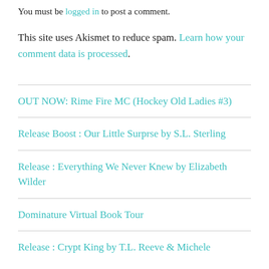You must be logged in to post a comment.
This site uses Akismet to reduce spam. Learn how your comment data is processed.
OUT NOW: Rime Fire MC (Hockey Old Ladies #3)
Release Boost : Our Little Surprse by S.L. Sterling
Release : Everything We Never Knew by Elizabeth Wilder
Dominature Virtual Book Tour
Release : Crypt King by T.L. Reeve & Michele